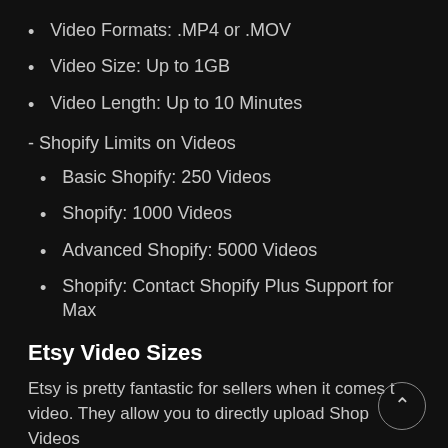Video Formats: .MP4 or .MOV
Video Size: Up to 1GB
Video Length: Up to 10 Minutes
- Shopify Limits on Videos
Basic Shopify: 250 Videos
Shopify: 1000 Videos
Advanced Shopify: 5000 Videos
Shopify: Contact Shopify Plus Support for Max
Etsy Video Sizes
Etsy is pretty fantastic for sellers when it comes to video. They allow you to directly upload Shop Videos